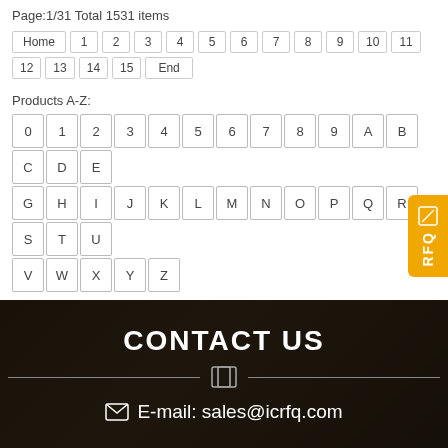Page:1/31 Total 1531 items
Home 1 2 3 4 5 6 7 8 9 10 11 12 13 14 15 End
Products A-Z:
0 1 2 3 4 5 6 7 8 9 A B C D E F G H I J K L M N O P Q R S T U V W X Y Z
CONTACT US
E-mail: sales@icrfq.com